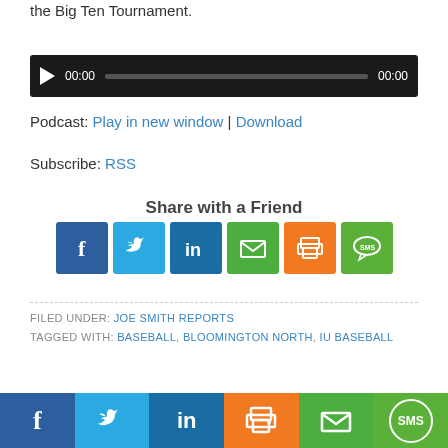the Big Ten Tournament.
[Figure (other): Audio player with play button, 00:00 start time, progress bar, and 00:00 end time on black background]
Podcast: Play in new window | Download
Subscribe: RSS
Share with a Friend
[Figure (infographic): Social share buttons: Facebook, Twitter, LinkedIn, Email, Print, SMS]
FILED UNDER: JOE SMITH REPORTS
TAGGED WITH: BASEBALL, BLOOMINGTON NORTH, IU BASEBALL
Bottom social share bar: Facebook, Twitter, LinkedIn, Print, Email, SMS